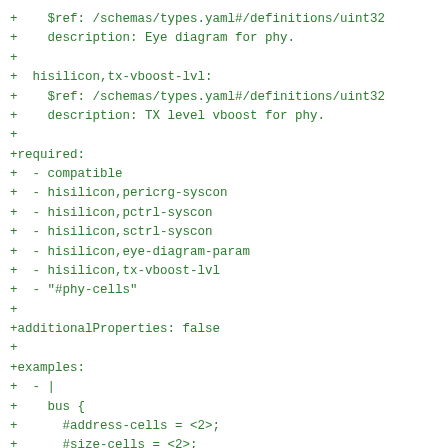+    $ref: /schemas/types.yaml#/definitions/uint32
+    description: Eye diagram for phy.
+
+  hisilicon,tx-vboost-lvl:
+    $ref: /schemas/types.yaml#/definitions/uint32
+    description: TX level vboost for phy.
+
+required:
+  - compatible
+  - hisilicon,pericrg-syscon
+  - hisilicon,pctrl-syscon
+  - hisilicon,sctrl-syscon
+  - hisilicon,eye-diagram-param
+  - hisilicon,tx-vboost-lvl
+  - "#phy-cells"
+
+additionalProperties: false
+
+examples:
+  - |
+    bus {
+      #address-cells = <2>;
+      #size-cells = <2>;
+
+      usb3_otg_bc: usb3_otg_bc@ff200000 {
+        compatible = "syscon", "simple-mfd";
+        reg = <0x0 0xff200000 0x0 0x1000>;
+
+        usb_phy {
+          compatible = "hisilicon,hi3670-usb-phy";